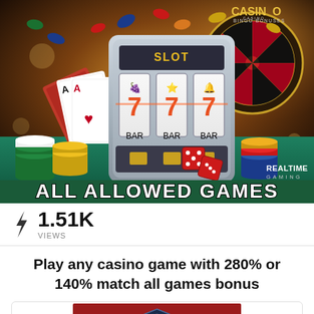[Figure (photo): Casino promotional banner showing slot machine reels displaying triple 7s, playing cards, poker chips, dice, and a roulette wheel. Text overlay reads 'ALL ALLOWED GAMES'. CASINO BINGO BONUSES logo top right. REALTIME GAMING logo bottom right.]
1.51K VIEWS
Play any casino game with 280% or 140% match all games bonus
[Figure (logo): Red background with white shield/diamond logo - casino brand logo]